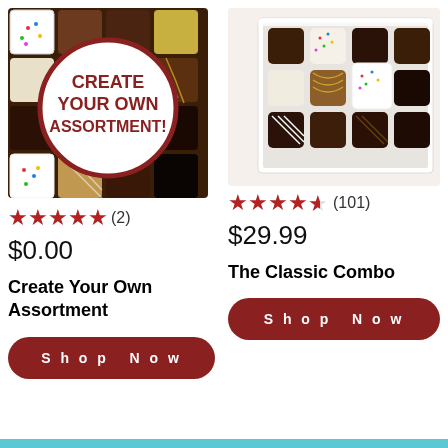[Figure (photo): Colorful assorted chocolates with a white circle overlay reading CREATE YOUR OWN ASSORTMENT! in dark red text]
[Figure (photo): Box of assorted chocolate petit fours in a white box]
★★★★★ (2)
$0.00
Create Your Own Assortment
Shop Now
★★★★½ (101)
$29.99
The Classic Combo
Shop Now